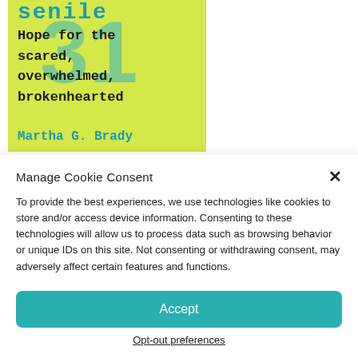[Figure (illustration): Book cover with yellow-green background showing large '31' numeral, text 'senile Hope for the scared, overwhelmed, brokenhearted' and author name 'Martha G. Brady' in teal/cyan typewriter font]
Manage Cookie Consent
To provide the best experiences, we use technologies like cookies to store and/or access device information. Consenting to these technologies will allow us to process data such as browsing behavior or unique IDs on this site. Not consenting or withdrawing consent, may adversely affect certain features and functions.
Accept
Opt-out preferences